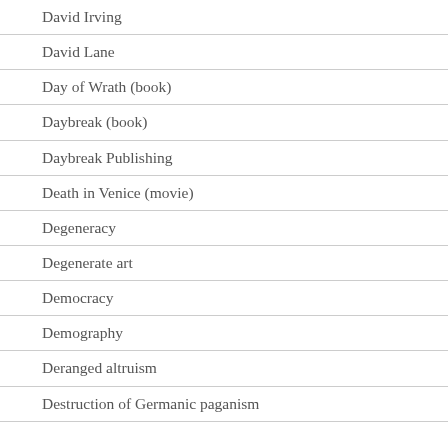David Irving
David Lane
Day of Wrath (book)
Daybreak (book)
Daybreak Publishing
Death in Venice (movie)
Degeneracy
Degenerate art
Democracy
Demography
Deranged altruism
Destruction of Germanic paganism